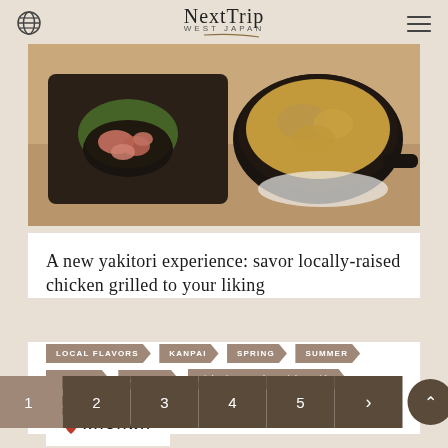Next Trip WEST JAPAN
[Figure (photo): Food photo showing Japanese dishes: raw chicken pieces in a dark bowl on a decorative tray, and a cast iron skillet with mushroom and cheese dish]
A new yakitori experience: savor locally-raised chicken grilled to your liking
LOCAL FLAVORS
KANPAI
SPRING
SUMMER
AUTUMN
WINTER
Night-time Food & Drinks Guide
TAKAMATSU
KAGAWA
1 2 3 4 5 >